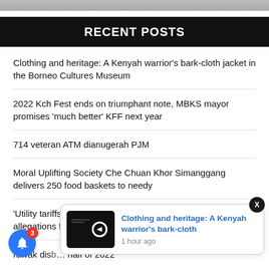[Figure (photo): Top image strip (partial photo cropped at top)]
RECENT POSTS
Clothing and heritage: A Kenyah warrior's bark-cloth jacket in the Borneo Cultures Museum
2022 Kch Fest ends on triumphant note, MBKS mayor promises 'much better' KFF next year
714 veteran ATM dianugerah PJM
Moral Uplifting Society Che Chuan Khor Simanggang delivers 250 food baskets to needy
'Utility tariffs remain unchanged', Dr Abdul Rahman dispels allegations follow
rawak disb… half of 2022
[Figure (screenshot): Notification popup showing 'Clothing and heritage: A Kenyah warrior's bark-cloth' with thumbnail, 1 hour ago, and a close X button. Also shows a blue bell icon with badge count 3.]